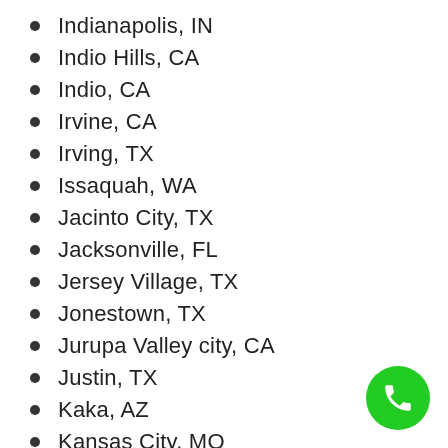Indianapolis, IN
Indio Hills, CA
Indio, CA
Irvine, CA
Irving, TX
Issaquah, WA
Jacinto City, TX
Jacksonville, FL
Jersey Village, TX
Jonestown, TX
Jurupa Valley city, CA
Justin, TX
Kaka, AZ
Kansas City, MO
Katy, TX
Katy, TX
Ken Caryl, CO